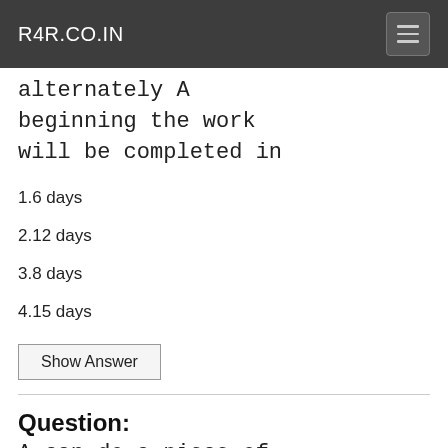R4R.CO.IN
alternately A beginning the work will be completed in
1.6 days
2.12 days
3.8 days
4.15 days
Show Answer
Question:
A can do a piece of